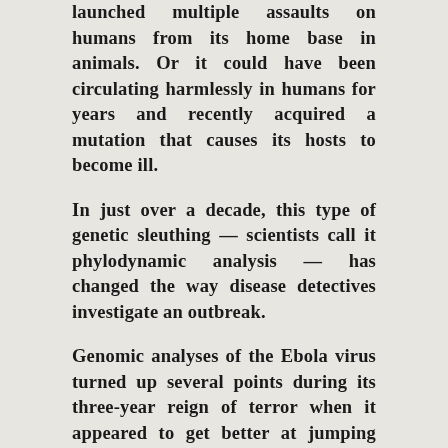launched multiple assaults on humans from its home base in animals. Or it could have been circulating harmlessly in humans for years and recently acquired a mutation that causes its hosts to become ill.
In just over a decade, this type of genetic sleuthing — scientists call it phylodynamic analysis — has changed the way disease detectives investigate an outbreak.
Genomic analyses of the Ebola virus turned up several points during its three-year reign of terror when it appeared to get better at jumping from person to person.
Studies of the Zika virus revealed that it became harmful to fetuses in 2013 in French Polynesia, more than a year before it triggered a wave of birth defects in Brazil.
Genetic sequencing helped identify bats as the origin of the virus responsible for Middle East respiratory